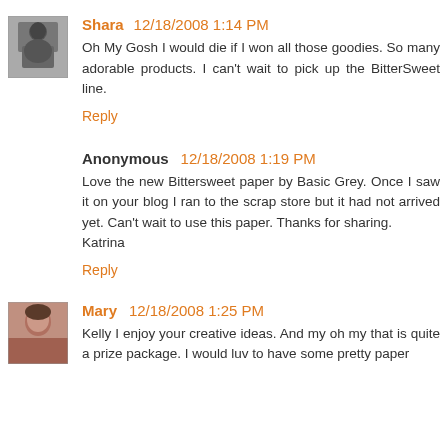Shara 12/18/2008 1:14 PM
Oh My Gosh I would die if I won all those goodies. So many adorable products. I can't wait to pick up the BitterSweet line.
Reply
Anonymous 12/18/2008 1:19 PM
Love the new Bittersweet paper by Basic Grey. Once I saw it on your blog I ran to the scrap store but it had not arrived yet. Can't wait to use this paper. Thanks for sharing. Katrina
Reply
Mary 12/18/2008 1:25 PM
Kelly I enjoy your creative ideas. And my oh my that is quite a prize package. I would luv to have some pretty paper